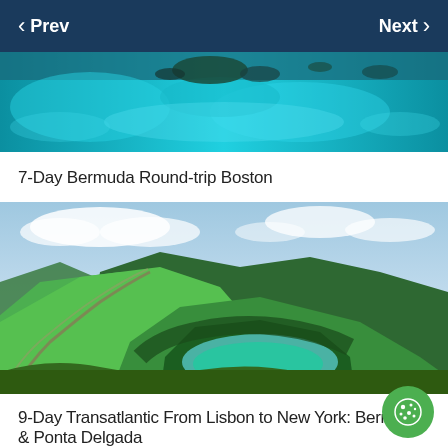Prev   Next
[Figure (photo): Aerial view of Bermuda turquoise ocean water with islands]
7-Day Bermuda Round-trip Boston
[Figure (photo): Panoramic landscape of green volcanic crater lake with mountains and blue lake in background, Sete Cidades, Azores]
9-Day Transatlantic From Lisbon to New York: Bermuda & Ponta Delgada